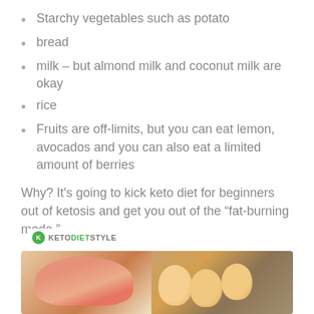Starchy vegetables such as potato
bread
milk – but almond milk and coconut milk are okay
rice
Fruits are off-limits, but you can eat lemon, avocados and you can also eat a limited amount of berries
Why? It's going to kick keto diet for beginners out of ketosis and get you out of the “fat-burning mode."
Meet Protein
[Figure (photo): Photo of protein foods including salmon, eggs, and mixed nuts/seeds with a KETODIETSTYLE logo badge in the corner]